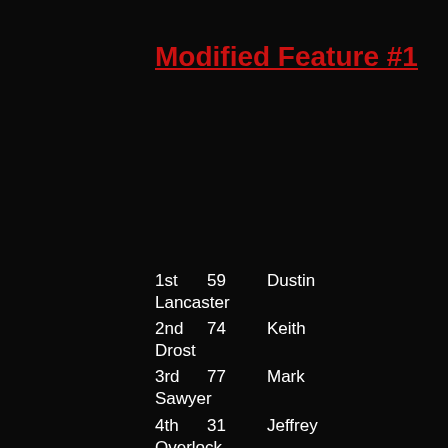Modified Feature #1
| Position | Number | First Name | Last Name |
| --- | --- | --- | --- |
| 1st | 59 | Dustin | Lancaster |
| 2nd | 74 | Keith | Drost |
| 3rd | 77 | Mark | Sawyer |
| 4th | 31 | Jeffrey | Overlock |
| 5th | X | Steve | Kimball |
| 6th | 3 | Danielle |  |